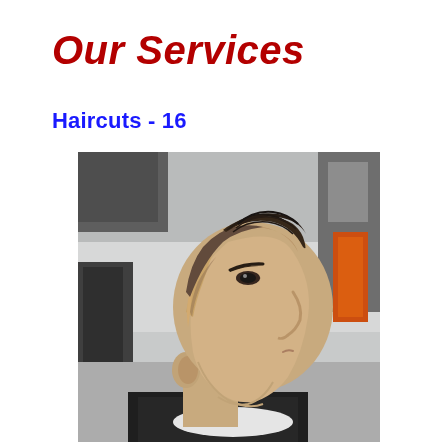Our Services
Haircuts - 16
[Figure (photo): Side profile photo of a young man with a fresh barbershop haircut — textured crop on top with a high skin fade, sitting in a barber chair in a barbershop setting]